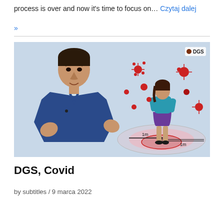process is over and now it's time to focus on… Czytaj dalej »
[Figure (screenshot): Video thumbnail showing a man in a blue suit gesturing, with an illustration of a woman surrounded by red coronavirus particles and social distancing circles labeled 1m. DGS logo visible top right.]
DGS, Covid
by subtitles / 9 marca 2022